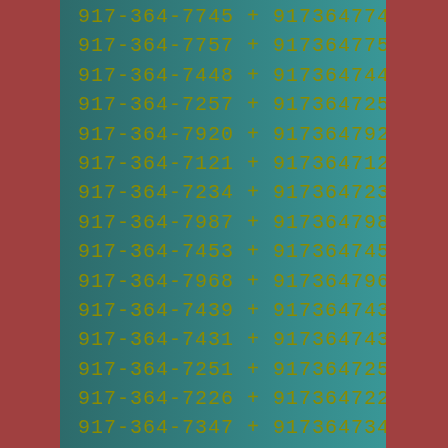917-364-7745 + 9173647745
917-364-7757 + 9173647757
917-364-7448 + 9173647448
917-364-7257 + 9173647257
917-364-7920 + 9173647920
917-364-7121 + 9173647121
917-364-7234 + 9173647234
917-364-7987 + 9173647987
917-364-7453 + 9173647453
917-364-7968 + 9173647968
917-364-7439 + 9173647439
917-364-7431 + 9173647431
917-364-7251 + 9173647251
917-364-7226 + 9173647226
917-364-7347 + 9173647347
917-364-7651 + 9173647651
917-364-7618 + 9173647618
917-364-7467 + 9173647467
917-364-7833 + 9173647833
917-364-7469 + 9173647469
917-364-7765 + 9173647765
917-364-7862 + 9173647862
917-364-7249 + 9173647249